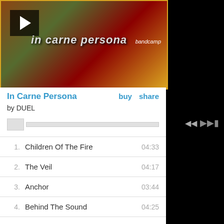[Figure (illustration): Album artwork for 'In Carne Persona' by DUEL with play button overlay and bandcamp logo. Dark gothic style artwork with red lettering on green/brown background.]
In Carne Persona
by DUEL
| # | Track | Duration |
| --- | --- | --- |
| 1. | Children Of The Fire | 04:33 |
| 2. | The Veil | 04:17 |
| 3. | Anchor | 03:44 |
| 4. | Behind The Sound | 04:25 |
| 5. | Bite Back! | 03:04 |
| 6. | Wave Of Your Hand | 04:33 |
| 7. | Dead Eyes | 03:40 |
| 8. | Lizard Tongue | 03:56 |
| 9. | Blood On The Claw | 06:25 |